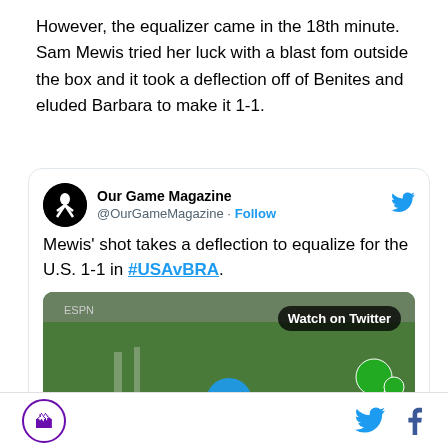However, the equalizer came in the 18th minute. Sam Mewis tried her luck with a blast fom outside the box and it took a deflection off of Benites and eluded Barbara to make it 1-1.
[Figure (screenshot): Embedded tweet from @OurGameMagazine with text: Mewis' shot takes a deflection to equalize for the U.S. 1-1 in #USAvBRA. Includes a video thumbnail showing a soccer field with a Watch on Twitter badge and advertising banners.]
Our Game Magazine logo, Twitter icon, Facebook icon